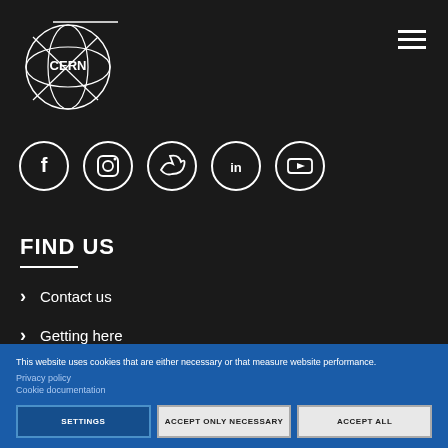[Figure (logo): CERN logo in white on dark background]
[Figure (illustration): Social media icons: Facebook, Instagram, Twitter, LinkedIn, YouTube - white circle outlines on dark background]
FIND US
Contact us
Getting here
This website uses cookies that are either necessary or that measure website performance.
Privacy policy
Cookie documentation
SETTINGS
ACCEPT ONLY NECESSARY
ACCEPT ALL